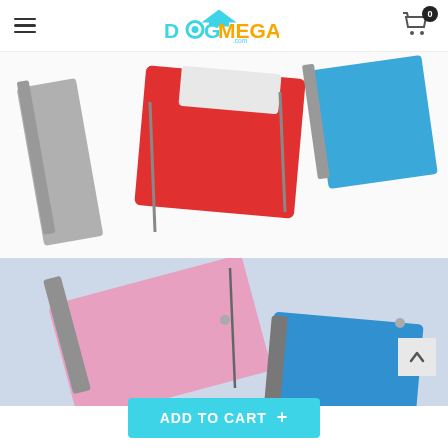DogMega.com
[Figure (photo): Close-up photo of colorful dog raincoats/jackets folded together, showing red and blue colors with gray trim and zippers, on a white background.]
[Figure (photo): Photo showing colorful dog raincoats/jackets, pink and blue with gray trim and zippers, on a light blue-gray background.]